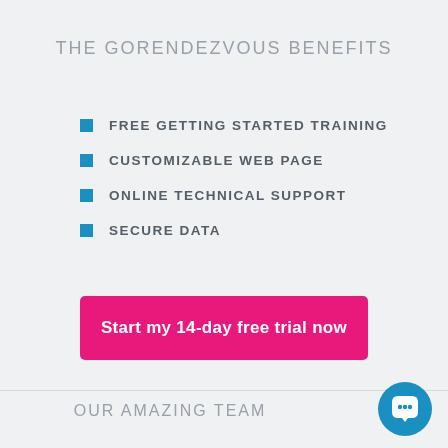THE GORENDEZVOUS BENEFITS
FREE GETTING STARTED TRAINING
CUSTOMIZABLE WEB PAGE
ONLINE TECHNICAL SUPPORT
SECURE DATA
Start my 14-day free trial now
OUR AMAZING TEAM